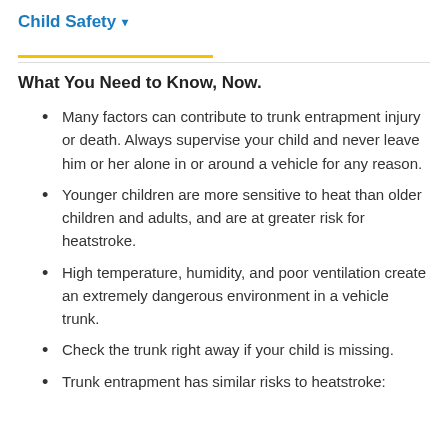Child Safety ▾
What You Need to Know, Now.
Many factors can contribute to trunk entrapment injury or death. Always supervise your child and never leave him or her alone in or around a vehicle for any reason.
Younger children are more sensitive to heat than older children and adults, and are at greater risk for heatstroke.
High temperature, humidity, and poor ventilation create an extremely dangerous environment in a vehicle trunk.
Check the trunk right away if your child is missing.
Trunk entrapment has similar risks to heatstroke: